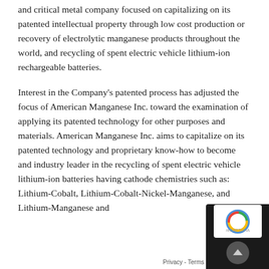and critical metal company focused on capitalizing on its patented intellectual property through low cost production or recovery of electrolytic manganese products throughout the world, and recycling of spent electric vehicle lithium-ion rechargeable batteries.
Interest in the Company's patented process has adjusted the focus of American Manganese Inc. toward the examination of applying its patented technology for other purposes and materials. American Manganese Inc. aims to capitalize on its patented technology and proprietary know-how to become and industry leader in the recycling of spent electric vehicle lithium-ion batteries having cathode chemistries such as:  Lithium-Cobalt, Lithium-Cobalt-Nickel-Manganese, and Lithium-Manganese and